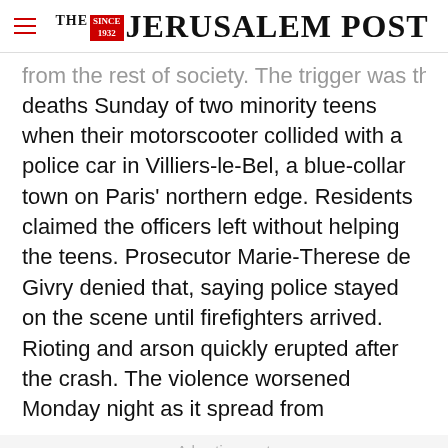THE JERUSALEM POST
from the rest of society. The trigger was the deaths Sunday of two minority teens when their motorscooter collided with a police car in Villiers-le-Bel, a blue-collar town on Paris' northern edge. Residents claimed the officers left without helping the teens. Prosecutor Marie-Therese de Givry denied that, saying police stayed on the scene until firefighters arrived. Rioting and arson quickly erupted after the crash. The violence worsened Monday night as it spread from
Advertisement